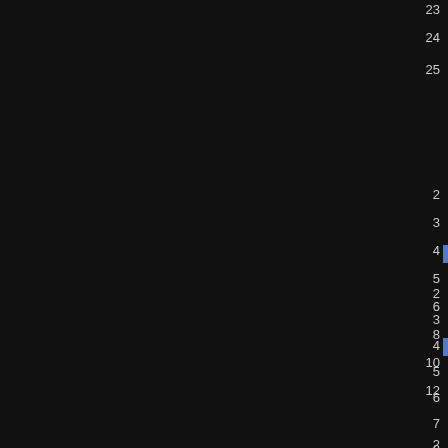| # | Campaign | Count | Date | Val |
| --- | --- | --- | --- | --- |
| 14 | Campaign_21004 | 118 | 25 MAR 2007 | 1 |
| 15 | Campaign_32386 | 83 | 25 MAR 2007 | 1 |
| 16 | Campaign_14656 | 120 | 24 MAR 2007 | 1 |